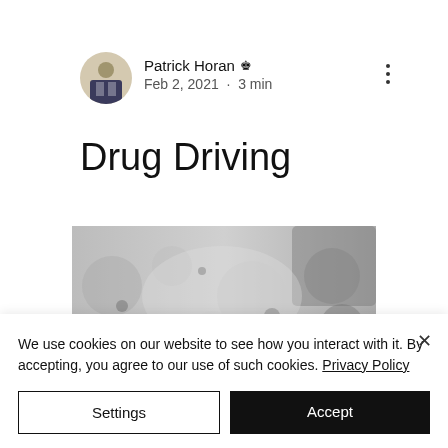[Figure (photo): Circular avatar photo of Patrick Horan, a man in a suit at a podium]
Patrick Horan 👑
Feb 2, 2021 · 3 min
Drug Driving
[Figure (photo): Blurred grayscale outdoor/road photograph used as article header image]
We use cookies on our website to see how you interact with it. By accepting, you agree to our use of such cookies. Privacy Policy
Settings
Accept